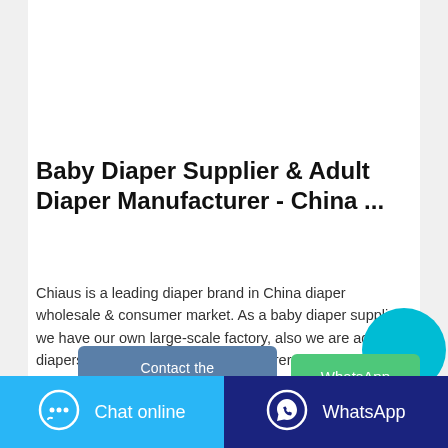[Figure (photo): Baby diaper product packaging photo showing colorful diaper boxes with baby/animal characters on a light background]
Baby Diaper Supplier & Adult Diaper Manufacturer - China ...
Chiaus is a leading diaper brand in China diaper wholesale & consumer market. As a baby diaper supplier, we have our own large-scale factory, also we are adult diapers and sanitary pads manufacturer.We are seeking for nappy agents, distributors and importers all over the world to cooperate with us for international business.
[Figure (other): Cyan/teal circle button in bottom-right area]
Contact the manufacturer
WhatsApp
Chat online
WhatsApp